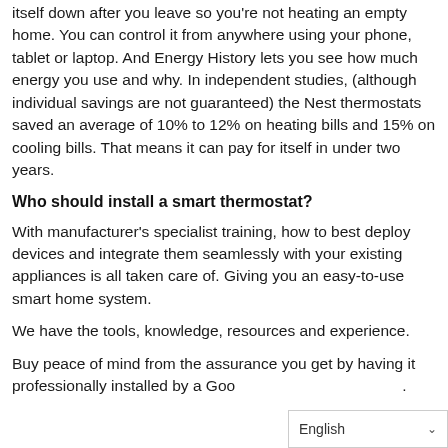itself down after you leave so you're not heating an empty home. You can control it from anywhere using your phone, tablet or laptop. And Energy History lets you see how much energy you use and why. In independent studies, (although individual savings are not guaranteed) the Nest thermostats saved an average of 10% to 12% on heating bills and 15% on cooling bills. That means it can pay for itself in under two years.
Who should install a smart thermostat?
With manufacturer's specialist training, how to best deploy devices and integrate them seamlessly with your existing appliances is all taken care of. Giving you an easy-to-use smart home system.
We have the tools, knowledge, resources and experience.
Buy peace of mind from the assurance you get by having it professionally installed by a Goo[gle certified professional].